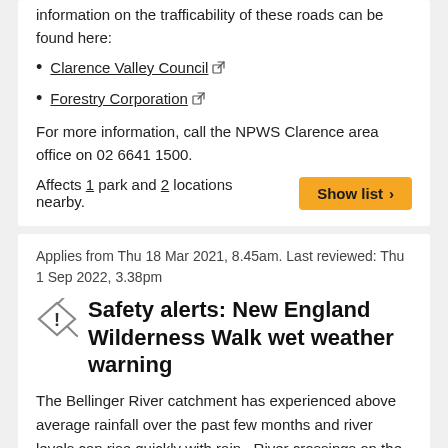information on the trafficability of these roads can be found here:
Clarence Valley Council
Forestry Corporation
For more information, call the NPWS Clarence area office on 02 6641 1500.
Affects 1 park and 2 locations nearby.
Applies from Thu 18 Mar 2021, 8.45am. Last reviewed: Thu 1 Sep 2022, 3.38pm
Safety alerts: New England Wilderness Walk wet weather warning
The Bellinger River catchment has experienced above average rainfall over the past few months and river levels can rise quickly with rain.  River crossings on the Wilderness Walk become extremely dangerous when river levels rise and walkers may become stranded.
Do not do the walk during periods of high river levels or forecast rainfall.
Check the Bureau of Meteorology for river levels and rainfall before setting off.